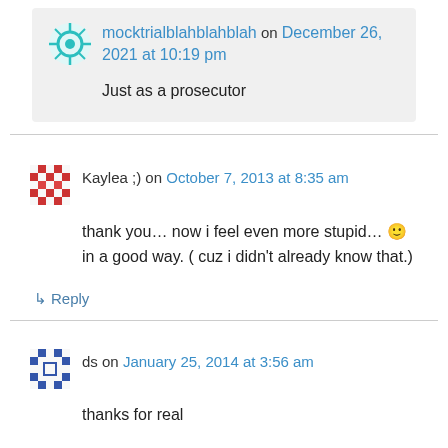mocktrialblahblahblah on December 26, 2021 at 10:19 pm
Just as a prosecutor
Kaylea ;) on October 7, 2013 at 8:35 am
thank you… now i feel even more stupid… 🙂 in a good way. ( cuz i didn't already know that.)
↳ Reply
ds on January 25, 2014 at 3:56 am
thanks for real